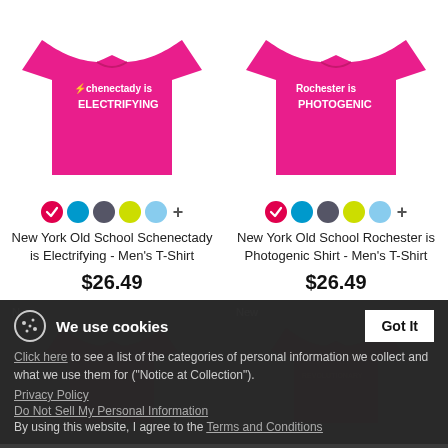[Figure (photo): Pink t-shirt with text 'Schenectady is ELECTRIFYING' on the front, left product column]
[Figure (photo): Pink t-shirt with text 'Rochester is PHOTOGENIC' on the front, right product column]
New York Old School Schenectady is Electrifying - Men's T-Shirt
$26.49
New York Old School Rochester is Photogenic Shirt - Men's T-Shirt
$26.49
[Figure (photo): Dark maroon t-shirt partially visible in dark background section, left]
[Figure (photo): Dark maroon t-shirt partially visible in dark background section, right]
We use cookies
Click here to see a list of the categories of personal information we collect and what we use them for ("Notice at Collection").
Privacy Policy
Do Not Sell My Personal Information
By using this website, I agree to the Terms and Conditions